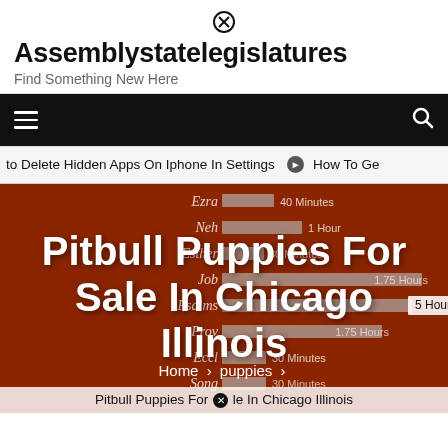Assemblystatelegislatures
Find Something New Here
[Figure (screenshot): Navigation bar with hamburger menu on left and search icon on right, dark background]
to Delete Hidden Apps On Iphone In Settings   ➤   How To Ge
Pitbull Puppies For Sale In Chicago Illinois
Home > puppies >
Pitbull Puppies For Sale In Chicago Illinois